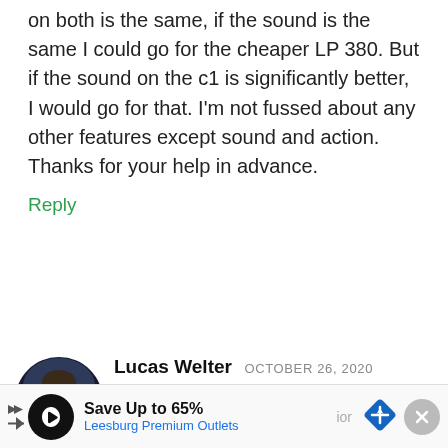on both is the same, if the sound is the same I could go for the cheaper LP 380. But if the sound on the c1 is significantly better, I would go for that. I'm not fussed about any other features except sound and action. Thanks for your help in advance.
Reply
[Figure (photo): Circular avatar photo of Lucas Welter, a man wearing glasses and a blue shirt, appearing to perform on stage with a microphone]
Lucas Welter OCTOBER 26, 2020
Hi,
The C1 Air comes with two new piano tones – German Grand and Japanese Grand. They use more
[Figure (infographic): Advertisement banner: Save Up to 65% Leesburg Premium Outlets, with logo circle, play button, navigation diamond icon, and close button]